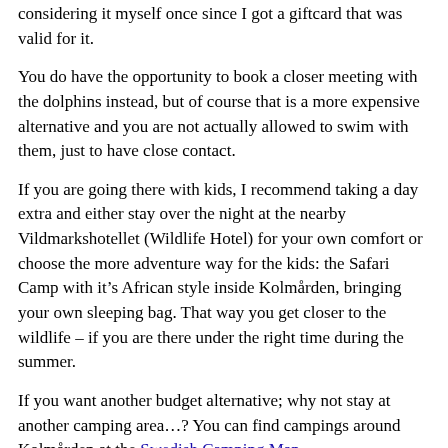considering it myself once since I got a giftcard that was valid for it.
You do have the opportunity to book a closer meeting with the dolphins instead, but of course that is a more expensive alternative and you are not actually allowed to swim with them, just to have close contact.
If you are going there with kids, I recommend taking a day extra and either stay over the night at the nearby Vildmarkshotellet (Wildlife Hotel) for your own comfort or choose the more adventure way for the kids: the Safari Camp with it’s African style inside Kolmården, bringing your own sleeping bag. That way you get closer to the wildlife – if you are there under the right time during the summer.
If you want another budget alternative; why not stay at another camping area…? You can find campings around Kolmården at the Swedish Camping Map.
How to get there:
if going by car you have about 1,5 hour driving to do from Stockholm, you can follow signs from the E4. Or you can take bus or train, the InterCity train stops at Kolmården station. How to book the best train tickets, have a look at our Ultimate Train Travel